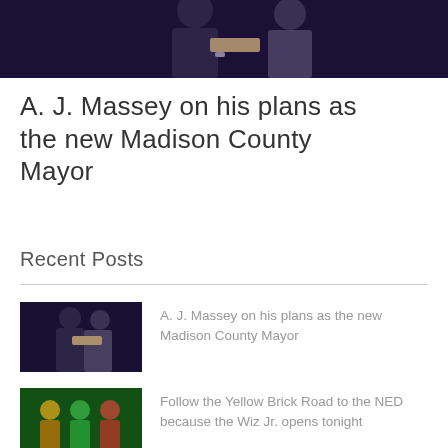[Figure (photo): Two people on a stage in dark lighting, one handing an object (likely a book or award) to another person in a suit]
A. J. Massey on his plans as the new Madison County Mayor
Recent Posts
[Figure (photo): Thumbnail image of two people on a dark stage, similar to the main image above]
A. J. Massey on his plans as the new Madison County Mayor
[Figure (photo): Thumbnail image of colorful costumed characters on a green-lit stage, appears to be a theatrical production]
Follow the Yellow Brick Road to the NED because the Wiz Jr. opens tonight